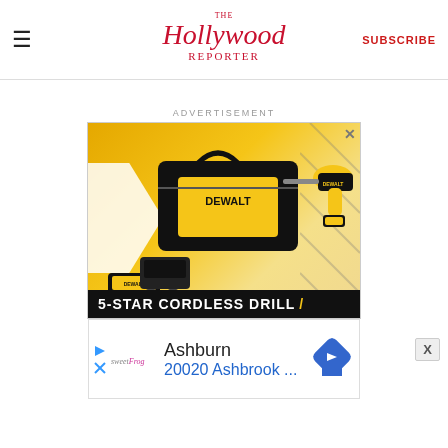≡  The Hollywood Reporter  SUBSCRIBE
ADVERTISEMENT
[Figure (photo): DeWalt 5-Star Cordless Drill advertisement showing a DeWalt tool bag, drill, battery packs, and charger on a yellow and black background. Text reads '5-STAR CORDLESS DRILL'.]
[Figure (screenshot): Secondary advertisement showing 'sweetFrog' logo, 'Ashburn' city name, '20020 Ashbrook ...' address in blue, and a blue navigation arrow icon.]